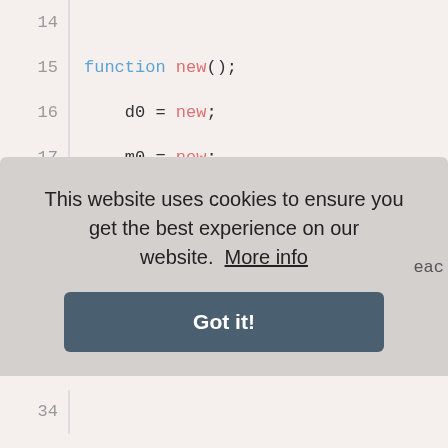[Figure (screenshot): Code editor screenshot showing SystemVerilog/UVM code lines 14-27 with syntax highlighting. Keywords in blue, function names in red/pink, plain code in dark. Lines include: function new(), d0=new, m0=new, s0=new, scb_mbx=new(), g0=new, drv_mbx=new, endfunction, virtual task run(), Connect virtual interface comment, d0.m_adder_vif=m_adder_vif, m0.m_adder_vif=m_adder_vif (partial). Line 34 partially visible at bottom.]
This website uses cookies to ensure you get the best experience on our website.  More info
Got it!